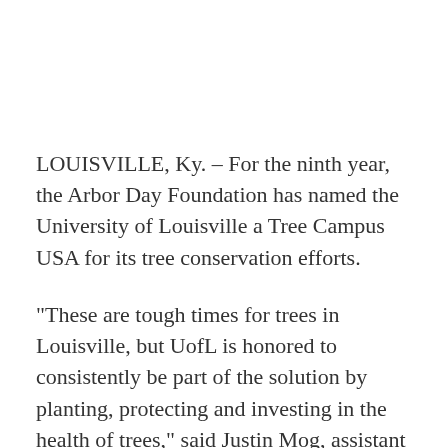LOUISVILLE, Ky. – For the ninth year, the Arbor Day Foundation has named the University of Louisville a Tree Campus USA for its tree conservation efforts.
“These are tough times for trees in Louisville, but UofL is honored to consistently be part of the solution by planting, protecting and investing in the health of trees,” said Justin Mog, assistant to the provost for sustainability initiatives.
The university was first recognized in 2010 after